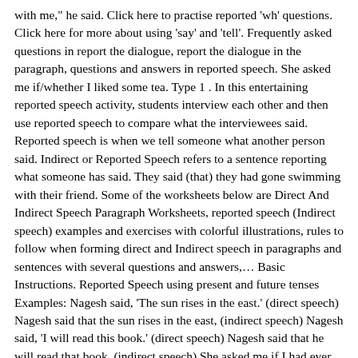with me," he said. Click here to practise reported 'wh' questions. Click here for more about using 'say' and 'tell'. Frequently asked questions in report the dialogue, report the dialogue in the paragraph, questions and answers in reported speech. She asked me if/whether I liked some tea. Type 1 . In this entertaining reported speech activity, students interview each other and then use reported speech to compare what the interviewees said. Reported speech is when we tell someone what another person said. Indirect or Reported Speech refers to a sentence reporting what someone has said. They said (that) they had gone swimming with their friend. Some of the worksheets below are Direct And Indirect Speech Paragraph Worksheets, reported speech (Indirect speech) examples and exercises with colorful illustrations, rules to follow when forming direct and Indirect speech in paragraphs and sentences with several questions and answers,… Basic Instructions. Reported Speech using present and future tenses Examples: Nagesh said, 'The sun rises in the east.' (direct speech) Nagesh said that the sun rises in the east, (indirect speech) Nagesh said, 'I will read this book.' (direct speech) Nagesh said that he will read that book, (indirect speech) She asked me if I had ever been to Mexico. Please contact me if you have any questions or comments.contact … Get more Perfect English Grammar with our courses. indirect speech: Daniel said that he worked in a bank. Through this topic you will learn how to use reported speech in negatives sentences as well as using reporting verbs to express the